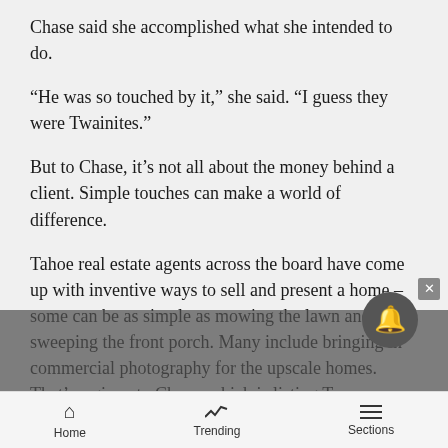Chase said she accomplished what she intended to do.
“He was so touched by it,” she said. “I guess they were Twainites.”
But to Chase, it’s not all about the money behind a client. Simple touches can make a world of difference.
Tahoe real estate agents across the board have come up with inventive ways to sell and present a home – some can be as simple as mowing the lawn and sweeping the front porch. Many include bringing in commercial photography for the upscale homes. That’s a given to Chase, which is listing Tommy Hilfiger co-founder’s Tranquility estate at Lake Tahoe for $100 million. The home extraordinaire has been surpassed only by Donald Trump’s $125 million spread in Palm Beach and Saudi Prince Bandar’s $135 million
Home   Trending   Sections